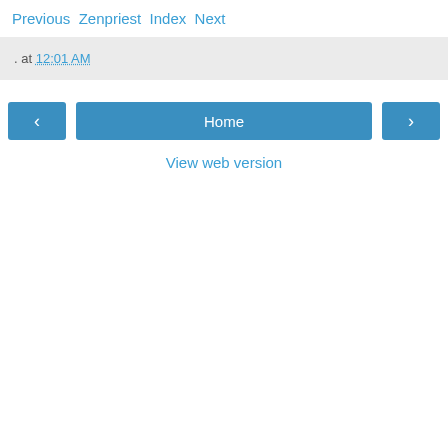Previous Zenpriest Index Next
. at 12:01 AM
< Home > View web version